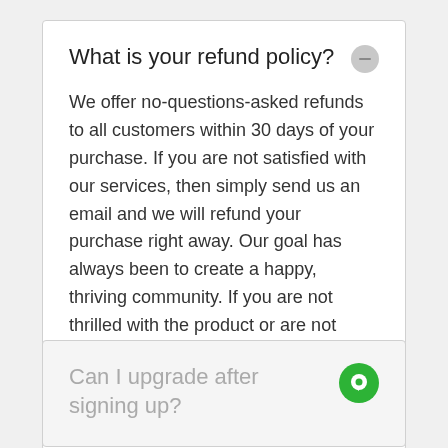What is your refund policy?
We offer no-questions-asked refunds to all customers within 30 days of your purchase. If you are not satisfied with our services, then simply send us an email and we will refund your purchase right away. Our goal has always been to create a happy, thriving community. If you are not thrilled with the product or are not enjoying the experience, then we have no interest in forcing you to stay an unhappy member.
Can I upgrade after signing up?